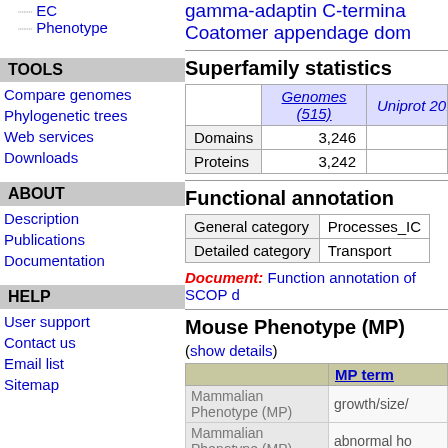EC
Phenotype
gamma-adaptin C-terminal
Coatomer appendage dom
TOOLS
Compare genomes
Phylogenetic trees
Web services
Downloads
Superfamily statistics
|  | Genomes (515) | Uniprot 2018_0 |
| --- | --- | --- |
| Domains | 3,246 |  |
| Proteins | 3,242 |  |
ABOUT
Description
Publications
Documentation
Functional annotation
| General category | Processes_IC |
| Detailed category | Transport |
Document: Function annotation of SCOP d
HELP
User support
Contact us
Email list
Sitemap
Mouse Phenotype (MP)
(show details)
| MP term |
| --- |
| Mammalian Phenotype (MP) | growth/size/ |
| Mammalian Phenotype (MP) | abnormal ho |
| Mammalian Phenotype (MP) | abnorm |